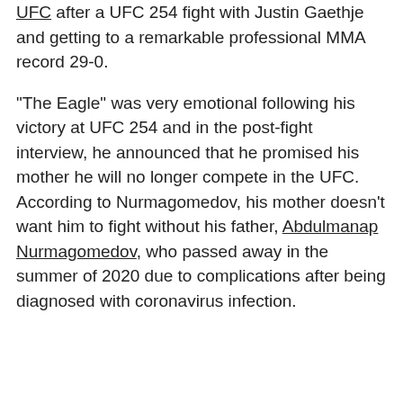UFC after a UFC 254 fight with Justin Gaethje and getting to a remarkable professional MMA record 29-0.
“The Eagle” was very emotional following his victory at UFC 254 and in the post-fight interview, he announced that he promised his mother he will no longer compete in the UFC. According to Nurmagomedov, his mother doesn’t want him to fight without his father, Abdulmanap Nurmagomedov, who passed away in the summer of 2020 due to complications after being diagnosed with coronavirus infection.